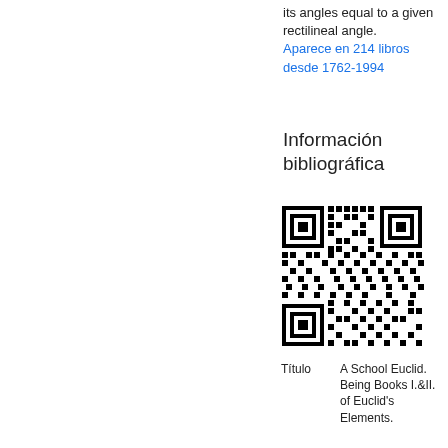its angles equal to a given rectilineal angle. Aparece en 214 libros desde 1762-1994
Información bibliográfica
[Figure (other): QR code for bibliographic information]
| Título | A School Euclid. Being Books I.&II. of Euclid's Elements. |